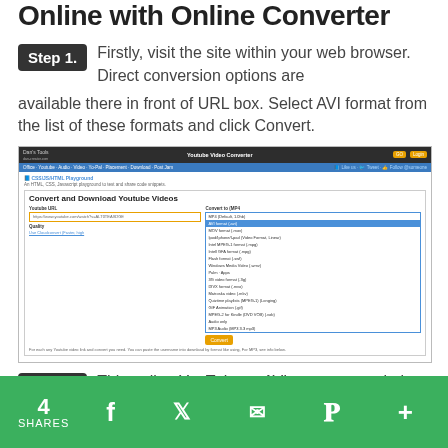Online with Online Converter
Step 1. Firstly, visit the site within your web browser. Direct conversion options are available there in front of URL box. Select AVI format from the list of these formats and click Convert.
[Figure (screenshot): Screenshot of Dan's Tools Youtube Video Converter website showing the Convert and Download Youtube Videos interface with a dropdown menu open showing various format options including AVI format highlighted in blue.]
Step 2. This online YouTube to AVI converter website will start converting online
4 SHARES  [Facebook] [Twitter] [Email] [Pinterest] [More]